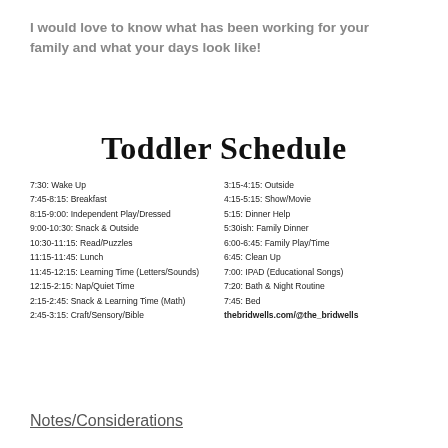I would love to know what has been working for your family and what your days look like!
Toddler Schedule
7:30: Wake Up
7:45-8:15: Breakfast
8:15-9:00: Independent Play/Dressed
9:00-10:30: Snack & Outside
10:30-11:15: Read/Puzzles
11:15-11:45: Lunch
11:45-12:15: Learning Time (Letters/Sounds)
12:15-2:15: Nap/Quiet Time
2:15-2:45: Snack & Learning Time (Math)
2:45-3:15: Craft/Sensory/Bible
3:15-4:15: Outside
4:15-5:15: Show/Movie
5:15: Dinner Help
5:30ish: Family Dinner
6:00-6:45: Family Play/Time
6:45: Clean Up
7:00: IPAD (Educational Songs)
7:20: Bath & Night Routine
7:45: Bed
thebridwells.com/@the_bridwells
Notes/Considerations